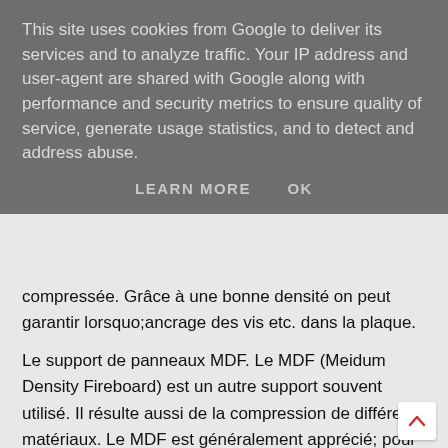This site uses cookies from Google to deliver its services and to analyze traffic. Your IP address and user-agent are shared with Google along with performance and security metrics to ensure quality of service, generate usage statistics, and to detect and address abuse.
LEARN MORE   OK
compressée. Grâce à une bonne densité on peut garantir lorsquo;ancrage des vis etc. dans la plaque.
Le support de panneaux MDF. Le MDF (Meidum Density Fireboard) est un autre support souvent utilisé. Il résulte aussi de la compression de différents matériaux. Le MDF est généralement apprécié; pour sa surface lisse. Il existe ici aussi différentes sorte et densités en fonction de son utilisation. Par exemple, le HDF (High Density Fireboard) est surtout utilisé; pour les panneaux laqués ou mouluré.
Les supports multiplex sont fabriqués à partir de plusieurs